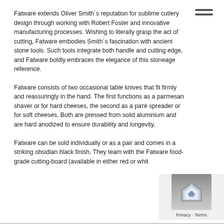Fatware extends Oliver Smith´s reputation for sublime cutlery design through working with Robert Foster and innovative manufacturing processes. Wishing to literally grasp the act of cutting, Fatware embodies Smith´s fascination with ancient stone tools. Such tools integrate both handle and cutting edge, and Fatware boldly embraces the elegance of this stoneage reference.
Fatware consists of two occasional table knives that fit firmly and reassuringly in the hand. The first functions as a parmesan shaver or for hard cheeses, the second as a paté spreader or for soft cheeses. Both are pressed from solid aluminium and are hard anodized to ensure durability and longevity.
Fatware can be sold individually or as a pair and comes in a striking obsidian black finish. They team with the Fatware food-grade cutting-board (available in either red or whit… complete this stunning suite.